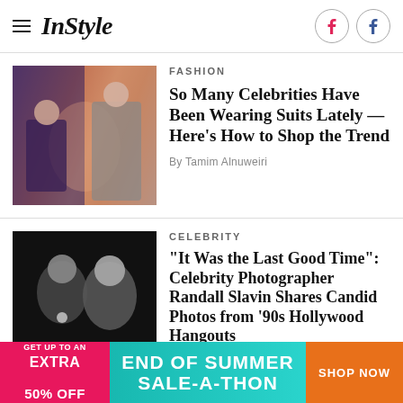InStyle
FASHION
So Many Celebrities Have Been Wearing Suits Lately — Here's How to Shop the Trend
By Tamim Alnuweiri
CELEBRITY
"It Was the Last Good Time": Celebrity Photographer Randall Slavin Shares Candid Photos from '90s Hollywood Hangouts
[Figure (photo): Advertisement banner: End of Summer Sale-A-Thon, get up to an extra 50% off, Shop Now]